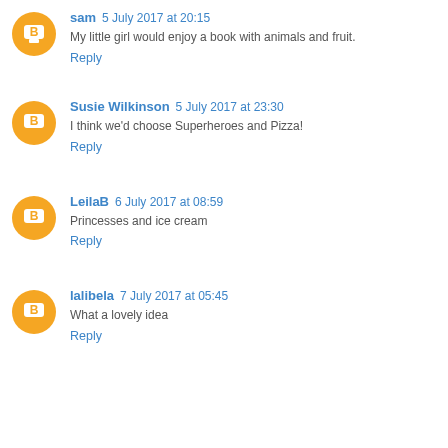sam 5 July 2017 at 20:15 — My little girl would enjoy a book with animals and fruit. Reply
Susie Wilkinson 5 July 2017 at 23:30 — I think we'd choose Superheroes and Pizza! Reply
LeilaB 6 July 2017 at 08:59 — Princesses and ice cream Reply
lalibela 7 July 2017 at 05:45 — What a lovely idea Reply